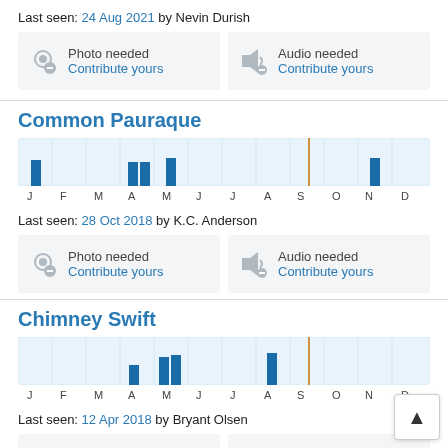Last seen: 24 Aug 2021 by Nevin Durish
[Figure (other): Photo needed / Contribute yours box and Audio needed / Contribute yours box]
Common Pauraque
[Figure (bar-chart): Common Pauraque monthly sightings]
Last seen: 28 Oct 2018 by K.C. Anderson
[Figure (other): Photo needed / Contribute yours box and Audio needed / Contribute yours box]
Chimney Swift
[Figure (bar-chart): Chimney Swift monthly sightings]
Last seen: 12 Apr 2018 by Bryant Olsen
[Figure (other): Photo needed box and Audio needed box (partial)]